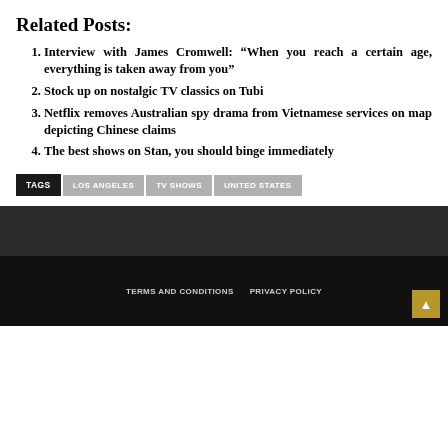Related Posts:
Interview with James Cromwell: “When you reach a certain age, everything is taken away from you”
Stock up on nostalgic TV classics on Tubi
Netflix removes Australian spy drama from Vietnamese services on map depicting Chinese claims
The best shows on Stan, you should binge immediately
TAGS  LOS ANGELES  TV SHOWS  UNITED STATES
TERMS AND CONDITIONS  PRIVACY POLICY